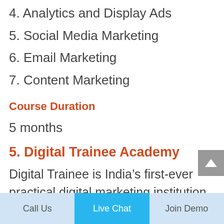4. Analytics and Display Ads
5. Social Media Marketing
6. Email Marketing
7. Content Marketing
Course Duration
5 months
5. Digital Trainee Academy
Digital Trainee is India’s first-ever practical digital marketing institution, delivering one of Pune’s top digital marketing courses. The ‘Say No To Theory’ guideline is followed at this
Call Us   Live Chat   Join Demo